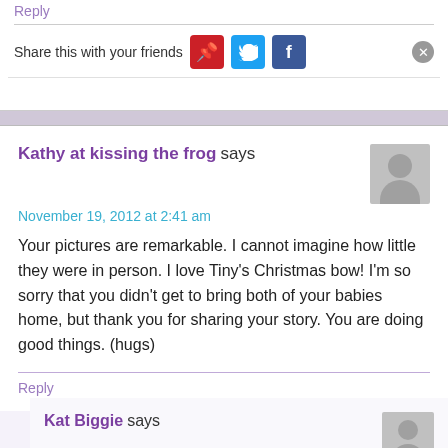Reply
Share this with your friends
Kathy at kissing the frog says
November 19, 2012 at 2:41 am
Your pictures are remarkable. I cannot imagine how little they were in person. I love Tiny's Christmas bow! I'm so sorry that you didn't get to bring both of your babies home, but thank you for sharing your story. You are doing good things. (hugs)
Reply
Kat Biggie says
November 19, 2012 at 11:03 pm
Thank you Kathy! Our nurse made her that bow. She liked to make her look pretty! 🙂 Thank...